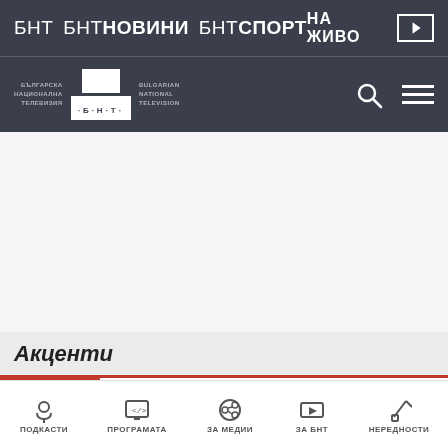БНТ  БНТ НОВИНИ  БНТ СПОРТ  НА ЖИВО
[Figure (logo): BNT - Bulgarska Natsionalna Televiziya / Bulgarian National Television logo with two white boxes and Cyrillic/Latin text]
Акценти
НИЯТ МИНИСТЪР: ПОСТИГНАТО Е ПРИНЦИП
ПОДКАСТИ  ПРОГРАМАТА  ЗА МЕДИИ  ЗА БНТ  НЕРЕДНОСТИ